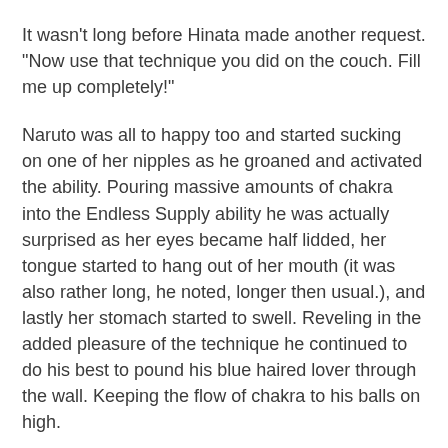It wasn't long before Hinata made another request. "Now use that technique you did on the couch. Fill me up completely!"
Naruto was all to happy too and started sucking on one of her nipples as he groaned and activated the ability. Pouring massive amounts of chakra into the Endless Supply ability he was actually surprised as her eyes became half lidded, her tongue started to hang out of her mouth (it was also rather long, he noted, longer then usual.), and lastly her stomach started to swell. Reveling in the added pleasure of the technique he continued to do his best to pound his blue haired lover through the wall. Keeping the flow of chakra to his balls on high.
Half an hour later a deliriously happy Hyuuga and a lightly panting Naruto stepped out of his apartment with